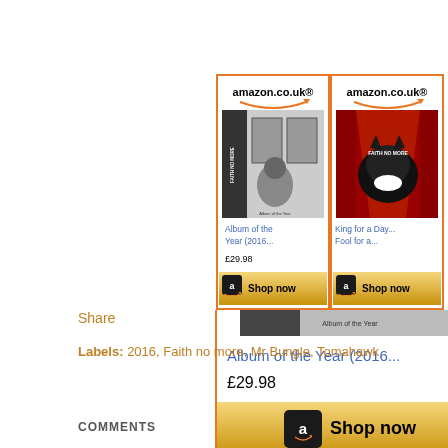[Figure (other): Two Amazon.co.uk product cards side by side. Left card: black and white album cover for Faith No More 'Album of the Year (2016...' priced at £29.98 with 'Shop now' button. Right card: red and black album cover for Faith No More 'King for a Day... Fool for a...' with 'Shop now' button.]
Share
Labels: 2016, Faith no more, Mr Bungle, Tomahawk
COMMENTS